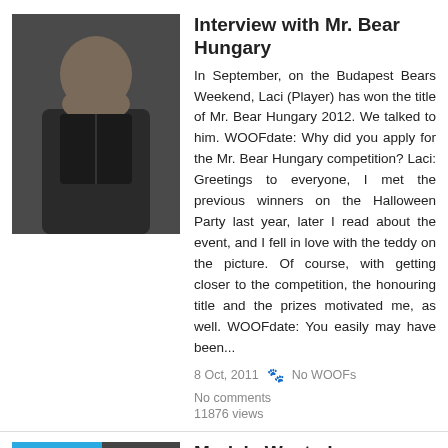[Figure (photo): Photo of a man with open shirt at a party]
Interview with Mr. Bear Hungary
In September, on the Budapest Bears Weekend, Laci (Player) has won the title of Mr. Bear Hungary 2012. We talked to him. WOOFdate: Why did you apply for the Mr. Bear Hungary competition? Laci: Greetings to everyone, I met the previous winners on the Halloween Party last year, later I read about the event, and I fell in love with the teddy on the picture. Of course, with getting closer to the competition, the honouring title and the prizes motivated me, as well. WOOFdate: You easily may have been...
8 Oct, 2011   No WOOFs   No comments
11876 views
[Figure (photo): WOOFdate magazine cover thumbnail with man]
Models Wanted
Open call for WOOFdate models! If you're a bear, chubby, muscle bear, cub, chub, or hairy men, we want you! Here's how it works:Please send us 2 – 5 never-before-seen photos of yourself to... You should